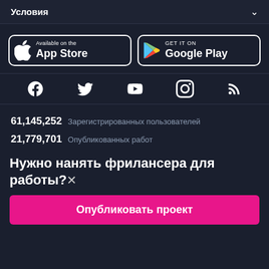Условия
[Figure (logo): App Store download button with Apple logo]
[Figure (logo): Google Play download button with Play Store logo]
[Figure (infographic): Social media icons: Facebook, Twitter, YouTube, Instagram, RSS]
61,145,252  Зарегистрированных пользователей
21,779,701  Опубликованных работ
Нужно нанять фрилансера для работы?✗
Опубликовать проект